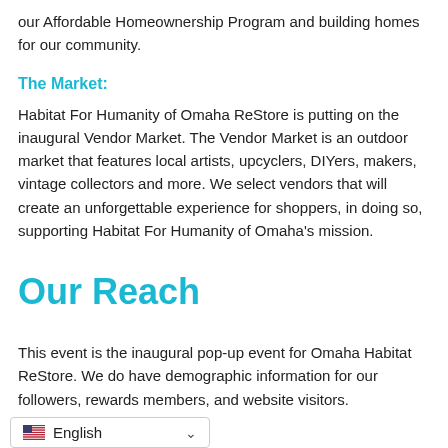our Affordable Homeownership Program and building homes for our community.
The Market:
Habitat For Humanity of Omaha ReStore is putting on the inaugural Vendor Market. The Vendor Market is an outdoor market that features local artists, upcyclers, DIYers, makers, vintage collectors and more. We select vendors that will create an unforgettable experience for shoppers, in doing so, supporting Habitat For Humanity of Omaha's mission.
Our Reach
This event is the inaugural pop-up event for Omaha Habitat ReStore. We do have demographic information for our followers, rewards members, and website visitors.